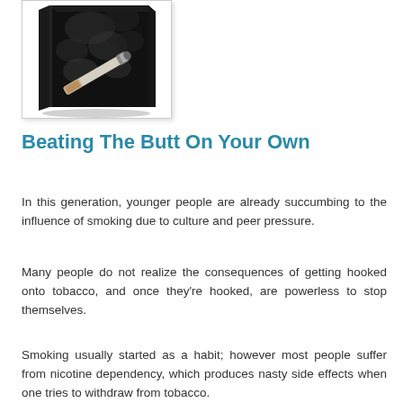[Figure (illustration): A book cover showing a cigarette butt with dark smoky background in black and white, presented as a 3D book with shadow.]
Beating The Butt On Your Own
In this generation, younger people are already succumbing to the influence of smoking due to culture and peer pressure.
Many people do not realize the consequences of getting hooked onto tobacco, and once they're hooked, are powerless to stop themselves.
Smoking usually started as a habit; however most people suffer from nicotine dependency, which produces nasty side effects when one tries to withdraw from tobacco.